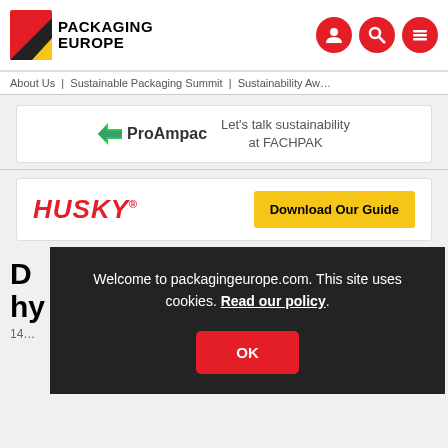Packaging Europe — navigation header with logo and icons
About Us | Sustainable Packaging Summit | Sustainability Aw...
[Figure (logo): ProAmpac logo with chevron arrow and text: Let's talk sustainability at FACHPAK]
[Figure (logo): Husky logo in red italic with registered mark and yellow Download Our Guide button]
D... hy...
14...
Welcome to packagingeurope.com. This site uses cookies. Read our policy.
OK